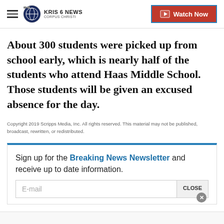KRIS 6 NEWS CORPUS CHRISTI | Watch Now
About 300 students were picked up from school early, which is nearly half of the students who attend Haas Middle School. Those students will be given an excused absence for the day.
Copyright 2019 Scripps Media, Inc. All rights reserved. This material may not be published, broadcast, rewritten, or redistributed.
Sign up for the Breaking News Newsletter and receive up to date information.
E-mail